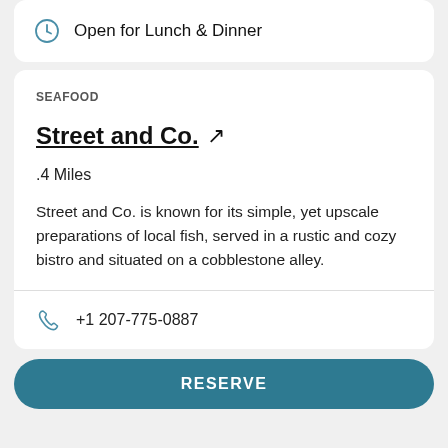Open for Lunch & Dinner
SEAFOOD
Street and Co. ↗
.4 Miles
Street and Co. is known for its simple, yet upscale preparations of local fish, served in a rustic and cozy bistro and situated on a cobblestone alley.
+1 207-775-0887
RESERVE